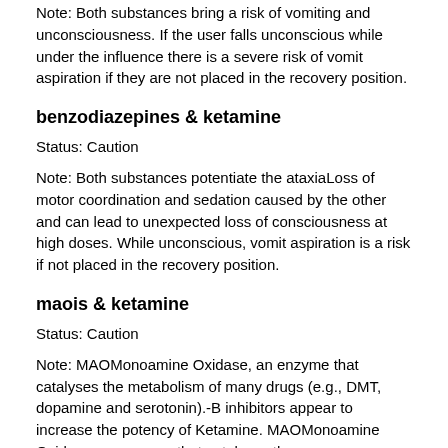Note: Both substances bring a risk of vomiting and unconsciousness. If the user falls unconscious while under the influence there is a severe risk of vomit aspiration if they are not placed in the recovery position.
benzodiazepines & ketamine
Status: Caution
Note: Both substances potentiate the ataxiaLoss of motor coordination and sedation caused by the other and can lead to unexpected loss of consciousness at high doses. While unconscious, vomit aspiration is a risk if not placed in the recovery position.
maois & ketamine
Status: Caution
Note: MAOMonoamine Oxidase, an enzyme that catalyses the metabolism of many drugs (e.g., DMT, dopamine and serotonin).-B inhibitors appear to increase the potency of Ketamine. MAOMonoamine Oxidase, an enzyme that catalyses the